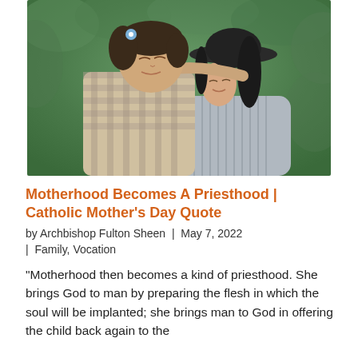[Figure (photo): A mother and young child touching cheeks, both with eyes closed, in an outdoor setting with green foliage background. The child wears a plaid outfit and has a blue flower in their hair; the mother wears a striped top and a dark hat.]
Motherhood Becomes A Priesthood | Catholic Mother's Day Quote
by Archbishop Fulton Sheen | May 7, 2022 | Family, Vocation
"Motherhood then becomes a kind of priesthood. She brings God to man by preparing the flesh in which the soul will be implanted; she brings man to God in offering the child back again to the